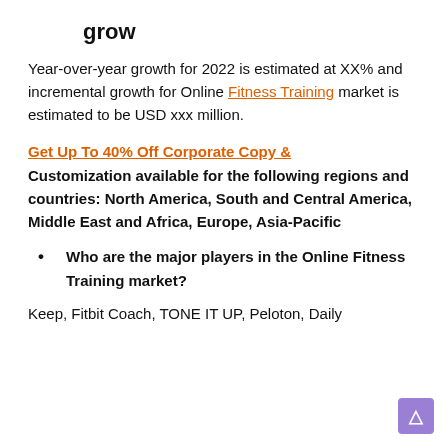grow
Year-over-year growth for 2022 is estimated at XX% and incremental growth for Online Fitness Training market is estimated to be USD xxx million.
Get Up To 40% Off Corporate Copy & Customization available for the following regions and countries: North America, South and Central America, Middle East and Africa, Europe, Asia-Pacific
Who are the major players in the Online Fitness Training market?
Keep, Fitbit Coach, TONE IT UP, Peloton, Daily